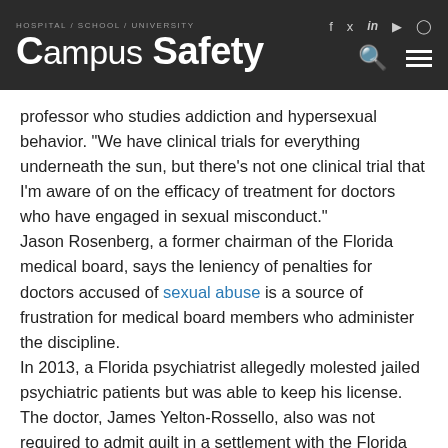HOSPITAL / SCHOOL / UNIVERSITY Campus Safety
professor who studies addiction and hypersexual behavior. “We have clinical trials for everything underneath the sun, but there’s not one clinical trial that I’m aware of on the efficacy of treatment for doctors who have engaged in sexual misconduct.”
Jason Rosenberg, a former chairman of the Florida medical board, says the leniency of penalties for doctors accused of sexual abuse is a source of frustration for medical board members who administer the discipline.
In 2013, a Florida psychiatrist allegedly molested jailed psychiatric patients but was able to keep his license. The doctor, James Yelton-Rossello, also was not required to admit guilt in a settlement with the Florida board of medicine.